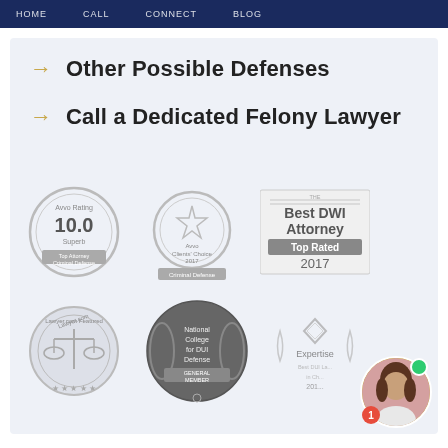HOME   CALL   CONNECT   BLOG
Other Possible Defenses
Call a Dedicated Felony Lawyer
[Figure (logo): Avvo Rating 10.0 Superb - Top Attorney Criminal Defense badge]
[Figure (logo): Avvo Clients' Choice 2017 Criminal Defense badge]
[Figure (logo): Best DWI Attorney Top Rated 2017 badge]
[Figure (logo): Lawyer.com Featured badge with scales of justice]
[Figure (logo): National College for DUI Defense General Member badge]
[Figure (logo): Expertise Best DUI Lawyer badge 2017]
[Figure (photo): Chat widget with female attorney photo, green online dot, and red notification badge showing 1]